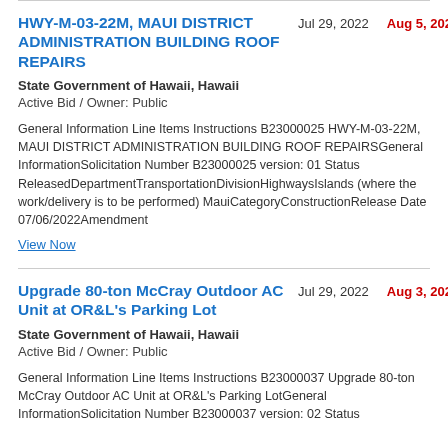HWY-M-03-22M, MAUI DISTRICT ADMINISTRATION BUILDING ROOF REPAIRS
Jul 29, 2022   Aug 5, 2022
State Government of Hawaii, Hawaii
Active Bid / Owner: Public
General Information Line Items Instructions B23000025 HWY-M-03-22M, MAUI DISTRICT ADMINISTRATION BUILDING ROOF REPAIRSGeneral InformationSolicitation Number B23000025 version: 01 Status ReleasedDepartmentTransportationDivisionHighwaysIslands (where the work/delivery is to be performed) MauiCategoryConstructionRelease Date 07/06/2022Amendment
View Now
Upgrade 80-ton McCray Outdoor AC Unit at OR&L's Parking Lot
Jul 29, 2022   Aug 3, 2022
State Government of Hawaii, Hawaii
Active Bid / Owner: Public
General Information Line Items Instructions B23000037 Upgrade 80-ton McCray Outdoor AC Unit at OR&L's Parking LotGeneral InformationSolicitation Number B23000037 version: 02 Status